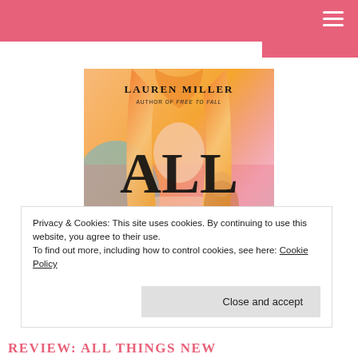[Figure (illustration): Book cover for 'All Things New' by Lauren Miller, author of Free to Fall. Shows a girl with orange/blonde hair and colorful blurred background. Bold text reads ALL THINGS NEW.]
Privacy & Cookies: This site uses cookies. By continuing to use this website, you agree to their use.
To find out more, including how to control cookies, see here: Cookie Policy
Close and accept
REVIEW: ALL THINGS NEW